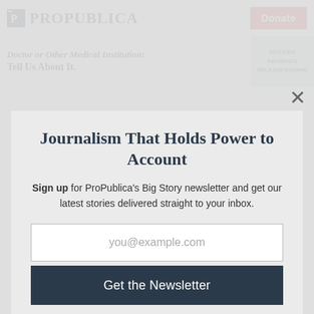ProPublica — Donate
Doctor or Other Medical Institution: Tell Us About It.
Journalism That Holds Power to Account
Sign up for ProPublica's Big Story newsletter and get our latest stories delivered straight to your inbox.
you@example.com
Get the Newsletter
No thanks, I'm all set
This site is protected by reCAPTCHA and the Google Privacy Policy and Terms of Service apply.